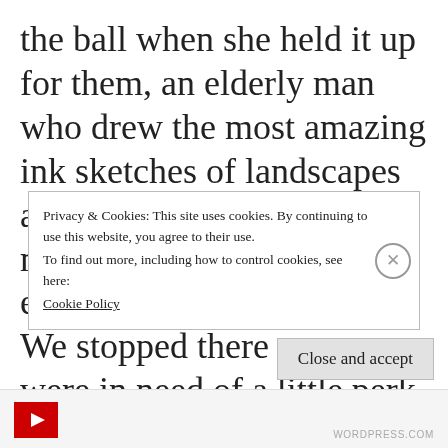the ball when she held it up for them, an elderly man who drew the most amazing ink sketches of landscapes and then a coffee shop, mainly filled with locals eating mizo and noodles. We stopped there as we were in need of a little perk-me-up at this point: my
Privacy & Cookies: This site uses cookies. By continuing to use this website, you agree to their use.
To find out more, including how to control cookies, see here:
Cookie Policy
Close and accept
WORDPRESS.COM